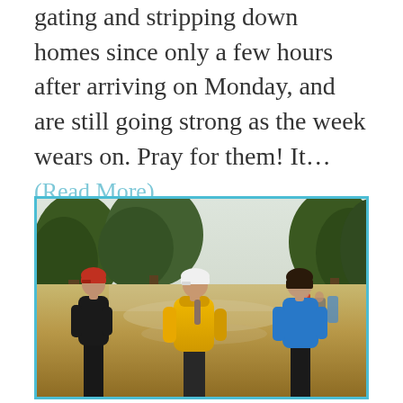gating and stripping down homes since only a few hours after arriving on Monday, and are still going strong as the week wears on. Pray for them! It… (Read More)
[Figure (photo): Three people wading through deep flood waters on a suburban street lined with large trees. The person on the left wears a black hoodie and red cap, the person in the center wears a yellow raincoat and white cap, and the person on the right wears a blue shirt. Background shows other people also wading through floodwater.]